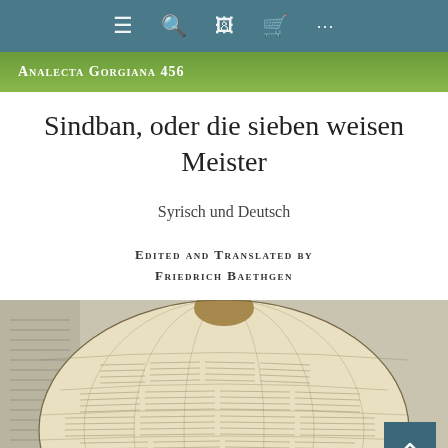Navigation bar with menu, search, computer, cart, and more icons
Analecta Gorgiana 456
Sindban, oder die sieben weisen Meister
Syrisch und Deutsch
EDITED AND TRANSLATED BY
FRIEDRICH BAETHGEN
[Figure (photo): A decorative globe or sphere covered with handwritten manuscript text arranged in a grid pattern, shown against a background with manuscript pages]